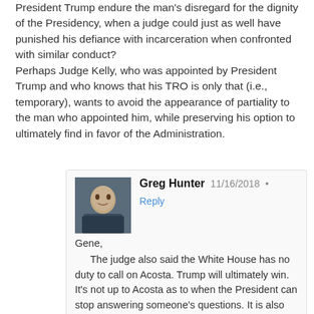President Trump endure the man's disregard for the dignity of the Presidency, when a judge could just as well have punished his defiance with incarceration when confronted with similar conduct?
Perhaps Judge Kelly, who was appointed by President Trump and who knows that his TRO is only that (i.e., temporary), wants to avoid the appearance of partiality to the man who appointed him, while preserving his option to ultimately find in favor of the Administration.
Greg Hunter  11/16/2018 • Reply
Gene,
The judge also said the White House has no duty to call on Acosta. Trump will ultimately win. It's not up to Acosta as to when the President can stop answering someone's questions. It is also not Acosta's role to debate the President and not yield when the President wants to take questions from a hundred other reporters. Acosta is an idiot and press is merely